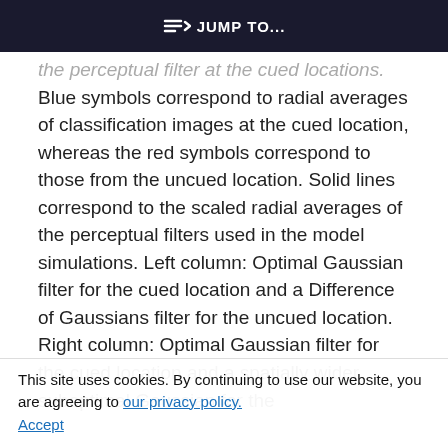⇒ JUMP TO...
the perceptual filter at the cued locations. Blue symbols correspond to radial averages of classification images at the cued location, whereas the red symbols correspond to those from the uncued location. Solid lines correspond to the scaled radial averages of the perceptual filters used in the model simulations. Left column: Optimal Gaussian filter for the cued location and a Difference of Gaussians filter for the uncued location. Right column: Optimal Gaussian filter for the cued location and a spatially wider suboptimal Gaussian for the
This site uses cookies. By continuing to use our website, you are agreeing to our privacy policy. Accept